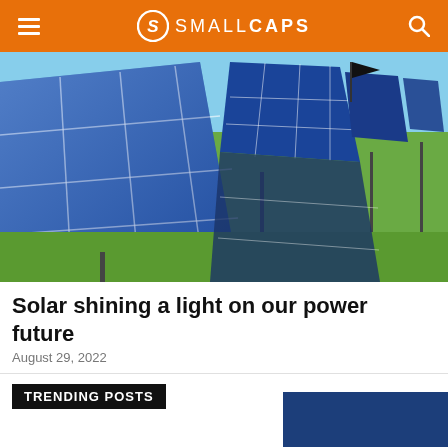SMALL CAPS
[Figure (photo): Rows of blue solar panels in an open field under a blue sky, shot at a low angle showing one large panel in the foreground and several rows receding into the background.]
Solar shining a light on our power future
August 29, 2022
TRENDING POSTS
[Figure (photo): Partial view of a dark blue image, likely another article thumbnail, cut off at the bottom right of the page.]